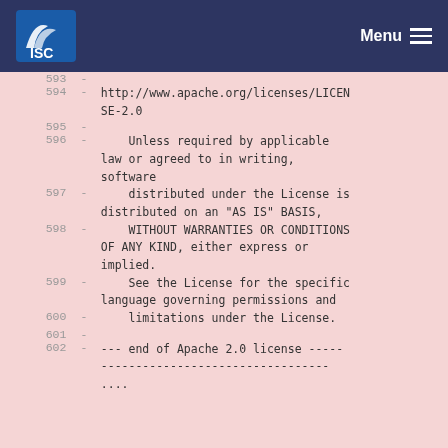ISC — Menu
593  -
594  -  http://www.apache.org/licenses/LICENSE-2.0
595  -
596  -     Unless required by applicable law or agreed to in writing, software
597  -     distributed under the License is distributed on an "AS IS" BASIS,
598  -     WITHOUT WARRANTIES OR CONDITIONS OF ANY KIND, either express or implied.
599  -     See the License for the specific language governing permissions and
600  -     limitations under the License.
601  -
602  - --- end of Apache 2.0 license -----------------------------------------------....